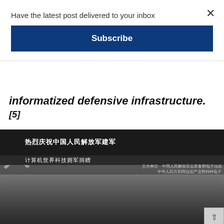Have the latest post delivered to your inbox
Subscribe
informatized defensive infrastructure.[5]
[Figure (photo): Black and white group photo of people standing in front of a banner with Chinese text reading: 热烈庆祝中国人民解放军建军… 计算机世界科技拥军捐赠… with organizer details listing PLA General Armament Department Electronic Information, Ministry of Information Industry Special Electronics, China Electronics Group Corporation.]
"In Earnest Celebration of the 76th Anniversary of the IT-Military Alliance." The event was a partnership…